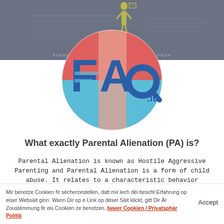[Figure (screenshot): Dark grey banner image with a faint human figure silhouette in yellow/gold color and text overlay reading 'STANDING TOGETHER FOR ALL THE CHILDREN']
[Figure (logo): FAQ.lu logo — a circular design with red top half and blue bottom half, overlaid with large bold blue letters 'FAQ' with a magnifying glass replacing the Q, and '.lu' in smaller blue text to the right. A pink/salmon vertical stripe overlaps the center.]
What exactly Parental Alienation (PA) is?
Parental Alienation is known as Hostile Aggressive Parenting and Parental Alienation is a form of child abuse. It relates to a characteristic behavior
Mir benotze Cookien fir sécherzestellen, datt mir lech déi bescht Erfahrung op eiser Websäit ginn. Wann Dir op e Link op dëser Säit klickt, gitt Dir Är Zoustëmmung fir eis Cookien ze benotzen. Iwwer Cookien / Privatsphär Politik
Accept